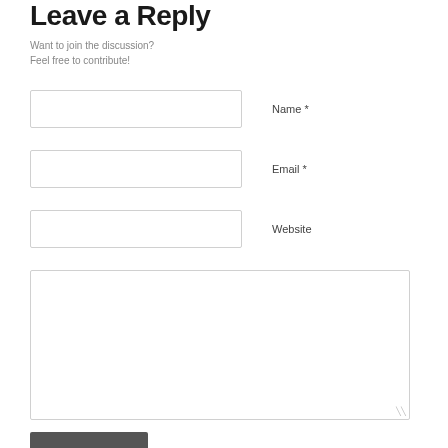Leave a Reply
Want to join the discussion?
Feel free to contribute!
Name *
Email *
Website